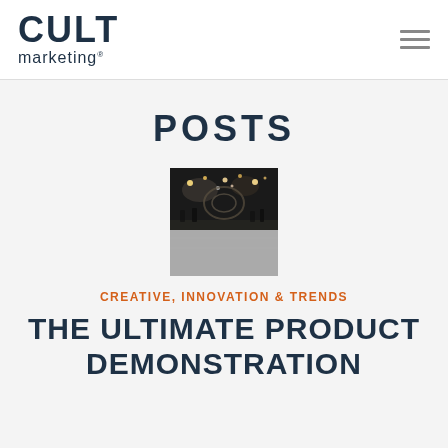CULT marketing
POSTS
[Figure (photo): Dark nighttime photo of an indoor event or exhibit space with lights and decorations, partially loading/grey at bottom]
CREATIVE, INNOVATION & TRENDS
THE ULTIMATE PRODUCT DEMONSTRATION